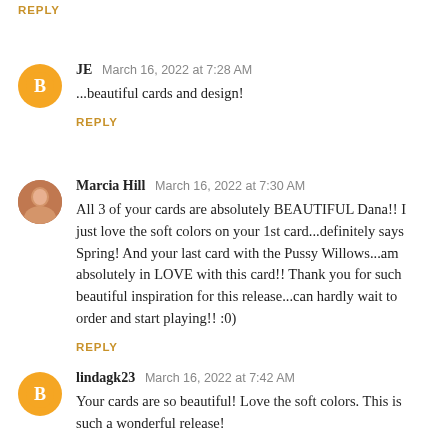REPLY
JE  March 16, 2022 at 7:28 AM
...beautiful cards and design!
REPLY
Marcia Hill  March 16, 2022 at 7:30 AM
All 3 of your cards are absolutely BEAUTIFUL Dana!! I just love the soft colors on your 1st card...definitely says Spring! And your last card with the Pussy Willows...am absolutely in LOVE with this card!! Thank you for such beautiful inspiration for this release...can hardly wait to order and start playing!! :0)
REPLY
lindagk23  March 16, 2022 at 7:42 AM
Your cards are so beautiful! Love the soft colors. This is such a wonderful release!
REPLY